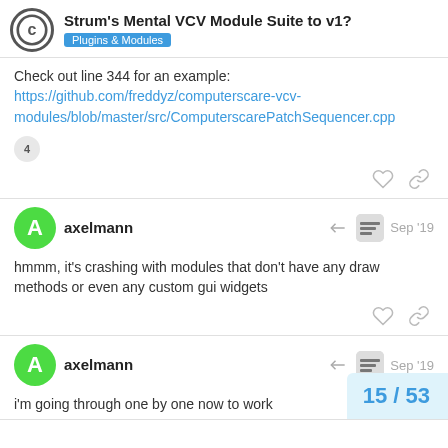Strum's Mental VCV Module Suite to v1? — Plugins & Modules
Check out line 344 for an example: https://github.com/freddyz/computerscare-vcv-modules/blob/master/src/ComputerscarePatchSequencer.cpp
axelmann  Sep '19
hmmm, it's crashing with modules that don't have any draw methods or even any custom gui widgets
axelmann  Sep '19
i'm going through one by one now to work
15 / 53